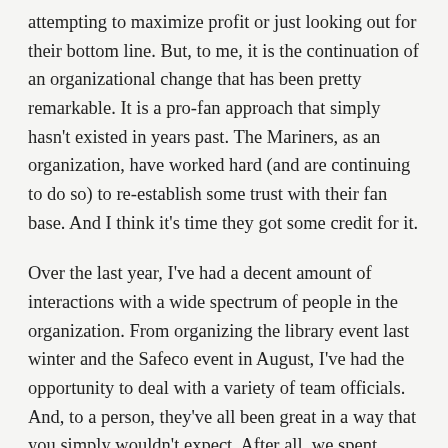attempting to maximize profit or just looking out for their bottom line. But, to me, it is the continuation of an organizational change that has been pretty remarkable. It is a pro-fan approach that simply hasn't existed in years past. The Mariners, as an organization, have worked hard (and are continuing to do so) to re-establish some trust with their fan base. And I think it's time they got some credit for it.
Over the last year, I've had a decent amount of interactions with a wide spectrum of people in the organization. From organizing the library event last winter and the Safeco event in August, I've had the opportunity to deal with a variety of team officials. And, to a person, they've all been great in a way that you simply wouldn't expect. After all, we spent about five years lambasting the organization at almost every turn, and I don't think its an exaggeration to say that